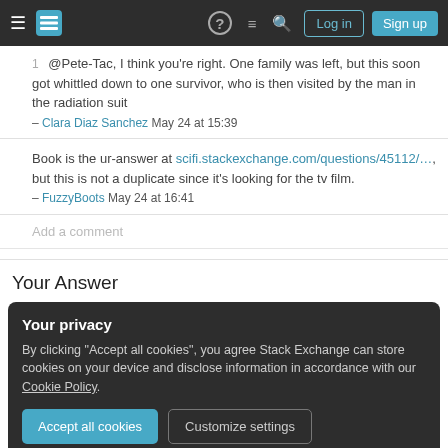Stack Exchange navigation bar with Log in and Sign up buttons
@Pete-Tac, I think you're right. One family was left, but this soon got whittled down to one survivor, who is then visited by the man in the radiation suit – Clara Diaz Sanchez May 24 at 15:39
Book is the ur-answer at scifi.stackexchange.com/questions/45112/..., but this is not a duplicate since it's looking for the tv film. – FuzzyBoots May 24 at 16:41
Add a comment
Your Answer
Your privacy
By clicking "Accept all cookies", you agree Stack Exchange can store cookies on your device and disclose information in accordance with our Cookie Policy.
Accept all cookies  Customize settings